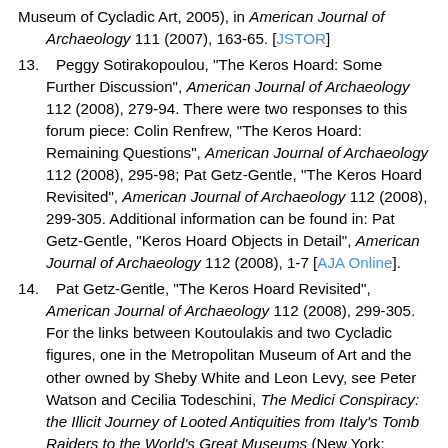Museum of Cycladic Art, 2005), in American Journal of Archaeology 111 (2007), 163-65. [JSTOR]
13.   Peggy Sotirakopoulou, "The Keros Hoard: Some Further Discussion", American Journal of Archaeology 112 (2008), 279-94. There were two responses to this forum piece: Colin Renfrew, "The Keros Hoard: Remaining Questions", American Journal of Archaeology 112 (2008), 295-98; Pat Getz-Gentle, "The Keros Hoard Revisited", American Journal of Archaeology 112 (2008), 299-305. Additional information can be found in: Pat Getz-Gentle, "Keros Hoard Objects in Detail", American Journal of Archaeology 112 (2008), 1-7 [AJA Online].
14.   Pat Getz-Gentle, "The Keros Hoard Revisited", American Journal of Archaeology 112 (2008), 299-305. For the links between Koutoulakis and two Cycladic figures, one in the Metropolitan Museum of Art and the other owned by Sheby White and Leon Levy, see Peter Watson and Cecilia Todeschini, The Medici Conspiracy: the Illicit Journey of Looted Antiquities from Italy's Tomb Raiders to the World's Great Museums (New York: Public Affairs, 2006), 246.
15.   Sotirakopoulou, Keros Hoard, no. 210; Jürgen Thimme (ed.), Art and Culture of the Cyclades: Handbook of an